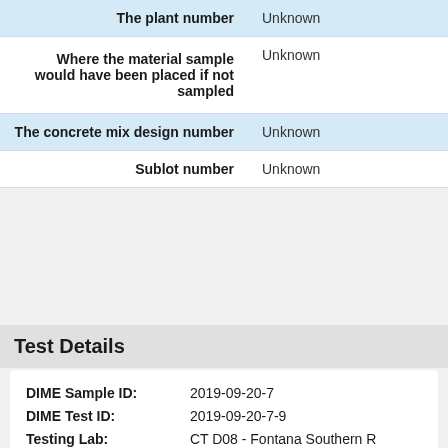| Field | Value |
| --- | --- |
| The plant number | Unknown |
| Where the material sample would have been placed if not sampled | Unknown |
| The concrete mix design number | Unknown |
| Sublot number | Unknown |
Test Details
DIME Sample ID: 2019-09-20-7
DIME Test ID: 2019-09-20-7-9
Testing Lab: CT D08 - Fontana Southern R
Test Method: CTM 202-November 2011: M
Test Release Date: 2019-10-07